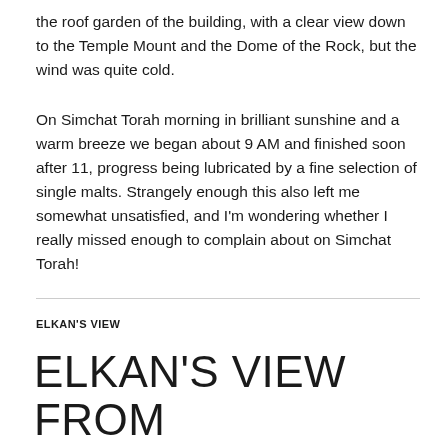the roof garden of the building, with a clear view down to the Temple Mount and the Dome of the Rock, but the wind was quite cold.
On Simchat Torah morning in brilliant sunshine and a warm breeze we began about 9 AM and finished soon after 11, progress being lubricated by a fine selection of single malts. Strangely enough this also left me somewhat unsatisfied, and I'm wondering whether I really missed enough to complain about on Simchat Torah!
ELKAN'S VIEW
ELKAN'S VIEW FROM